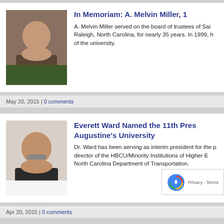[Figure (photo): Portrait photo of A. Melvin Miller, an older African American man in a suit]
In Memoriam: A. Melvin Miller, 1
A. Melvin Miller served on the board of trustees of Sai Raleigh, North Carolina, for nearly 35 years. In 1999, h of the university.
May 20, 2015 | 0 comments
[Figure (photo): Portrait photo of Everett Ward, an African American man in a suit with glasses]
Everett Ward Named the 11th Pres Augustine's University
Dr. Ward has been serving as interim president for the p director of the HBCU/Minority Institutions of Higher E North Carolina Department of Transportation.
Apr 20, 2015 | 0 comments
[Figure (illustration): Illustration related to Higher Education Grants, showing a figure with a money bag]
Higher Education Grants o Americans